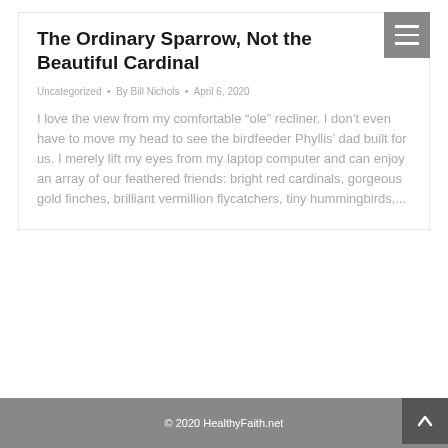The Ordinary Sparrow, Not the Beautiful Cardinal
Uncategorized • By Bill Nichols • April 6, 2020
I love the view from my comfortable “ole” recliner. I don’t even have to move my head to see the birdfeeder Phyllis’ dad built for us. I merely lift my eyes from my laptop computer and can enjoy an array of our feathered friends: bright red cardinals, gorgeous gold finches, brilliant vermillion flycatchers, tiny hummingbirds,...
© 2020 HealthyFaith.net